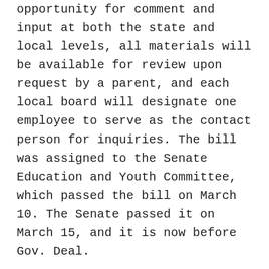opportunity for comment and input at both the state and local levels, all materials will be available for review upon request by a parent, and each local board will designate one employee to serve as the contact person for inquiries. The bill was assigned to the Senate Education and Youth Committee, which passed the bill on March 10. The Senate passed it on March 15, and it is now before Gov. Deal.
SB 310 (Sen. William Ligon, 3rd), the Transparency in Education Act, prohibits the implementation of any competitive grant over $20 million pertaining to or affecting Pre-K–12 education until ratified by the Georgia